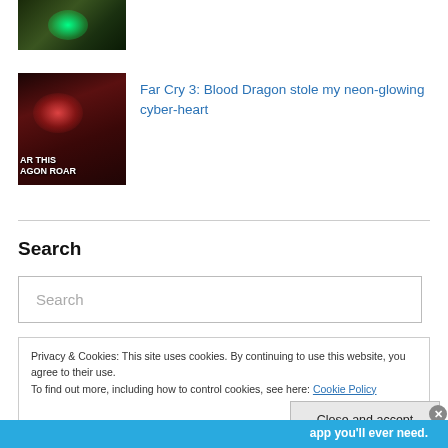[Figure (screenshot): Partial thumbnail image of a game screenshot with dark green tones and glowing green light]
[Figure (screenshot): Thumbnail image for Far Cry 3: Blood Dragon article, dark red tones with glowing red/pink effect, text overlay reading 'AR THIS AGON ROAR']
Far Cry 3: Blood Dragon stole my neon-glowing cyber-heart
Search
Search
Privacy & Cookies: This site uses cookies. By continuing to use this website, you agree to their use.
To find out more, including how to control cookies, see here: Cookie Policy
Close and accept